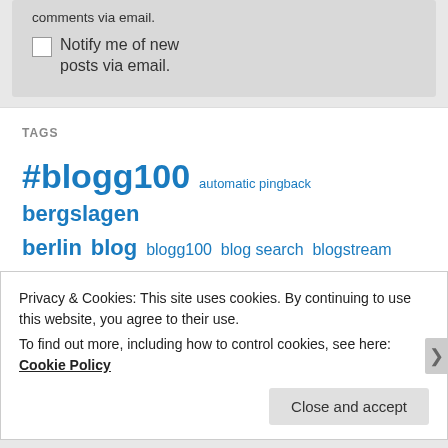comments via email.
Notify me of new posts via email.
TAGS
#blogg100 automatic pingback bergslagen berlin blog blogg100 blog search blogstream books cactus christmas computer Elisa food
Privacy & Cookies: This site uses cookies. By continuing to use this website, you agree to their use.
To find out more, including how to control cookies, see here: Cookie Policy